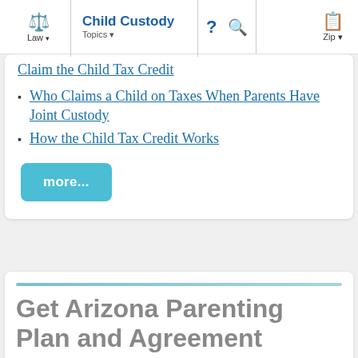Law | Child Custody | Topics | ? | Search | Zip
Claim the Child Tax Credit
Who Claims a Child on Taxes When Parents Have Joint Custody
How the Child Tax Credit Works
more...
Get Arizona Parenting Plan and Agreement